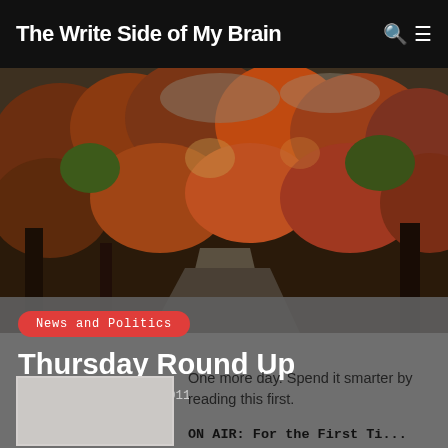The Write Side of My Brain
[Figure (photo): Autumn forest scene with red, orange, and green foliage trees along a road, dark moody sky]
News and Politics
Thursday Round Up
By Mike on Oct 20, 2011
[Figure (photo): Small thumbnail image, light gray placeholder]
One more day. Spend it smarter by reading this first.
ON AIR: For the First Ti...